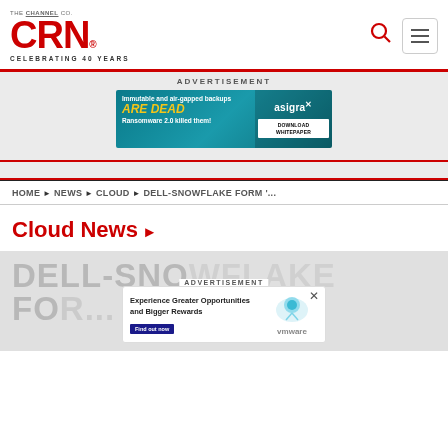[Figure (logo): CRN logo with text 'CELEBRATING 40 YEARS']
ADVERTISEMENT
[Figure (screenshot): Asigra advertisement banner: 'Immutable and air-gapped backups ARE DEAD Ransomware 2.0 killed them!' with DOWNLOAD WHITEPAPER button]
HOME ▶ NEWS ▶ CLOUD ▶ DELL-SNOWFLAKE FORM '...
Cloud News ▶
DELL-SNOWFLAKE
FO...
ADVERTISEMENT
[Figure (screenshot): VMware advertisement: 'Experience Greater Opportunities and Bigger Rewards' with Find out now button and vmware logo]